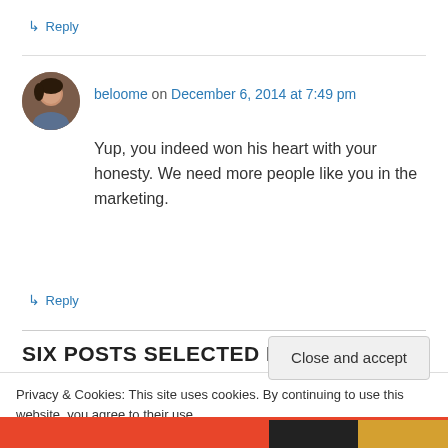↳ Reply
beloome on December 6, 2014 at 7:49 pm
Yup, you indeed won his heart with your honesty. We need more people like you in the marketing.
↳ Reply
SIX POSTS SELECTED FOR SPICY SATURDAY PICKS
Privacy & Cookies: This site uses cookies. By continuing to use this website, you agree to their use.
To find out more, including how to control cookies, see here: Cookie Policy
Close and accept